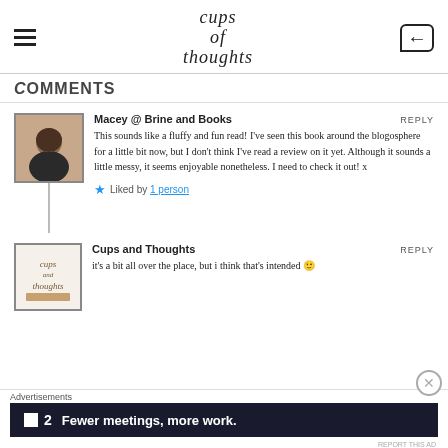cups of thoughts
COMMENTS
[Figure (photo): Avatar photo of a woman with dark hair]
Macey @ Brine and Books
REPLY
This sounds like a fluffy and fun read! I've seen this book around the blogosphere for a little bit now, but I don't think I've read a review on it yet. Although it sounds a little messy, it seems enjoyable nonetheless. I need to check it out! x
★ Liked by 1 person
[Figure (logo): Cups and Thoughts blog logo]
Cups and Thoughts
REPLY
it's a bit all over the place, but i think that's intended 🙂
Advertisements
[Figure (infographic): Advertisement banner: Fewer meetings, more work. — Front app]